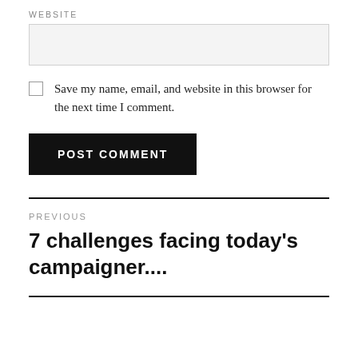WEBSITE
Save my name, email, and website in this browser for the next time I comment.
POST COMMENT
PREVIOUS
7 challenges facing today's campaigner....